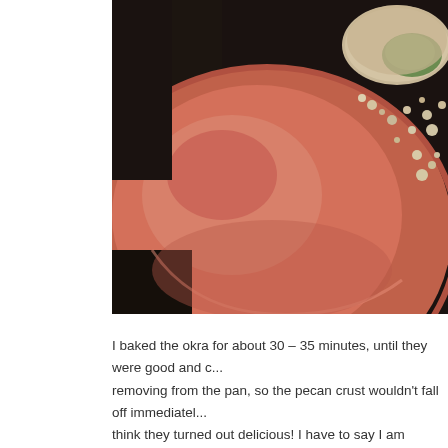[Figure (photo): Close-up photo of a terracotta/red clay plate with breaded okra pieces coated in pecan crust, on a dark background. A green piece of okra with white crumbly coating is visible in the upper right. The plate has a characteristic curved rim and reddish-brown glaze.]
I baked the okra for about 30 – 35 minutes, until they were good and c... removing from the pan, so the pecan crust wouldn't fall off immediatel... think they turned out delicious!  I have to say I am surprised at how m...